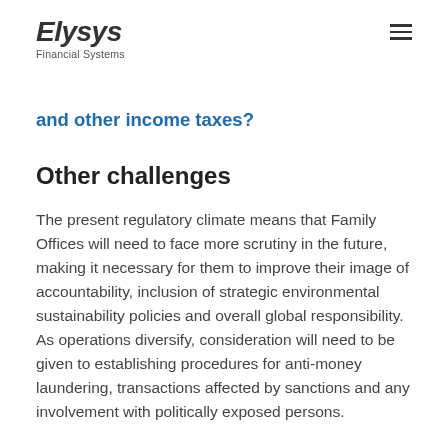Elysys Financial Systems
and other income taxes?
Other challenges
The present regulatory climate means that Family Offices will need to face more scrutiny in the future, making it necessary for them to improve their image of accountability, inclusion of strategic environmental sustainability policies and overall global responsibility. As operations diversify, consideration will need to be given to establishing procedures for anti-money laundering, transactions affected by sanctions and any involvement with politically exposed persons.
Real-time information from multiple sources within